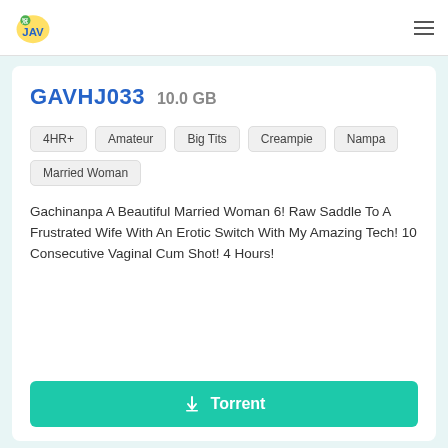JAV logo and navigation
GAVHJ033 10.0 GB
4HR+
Amateur
Big Tits
Creampie
Nampa
Married Woman
Gachinanpa A Beautiful Married Woman 6! Raw Saddle To A Frustrated Wife With An Erotic Switch With My Amazing Tech! 10 Consecutive Vaginal Cum Shot! 4 Hours!
Torrent